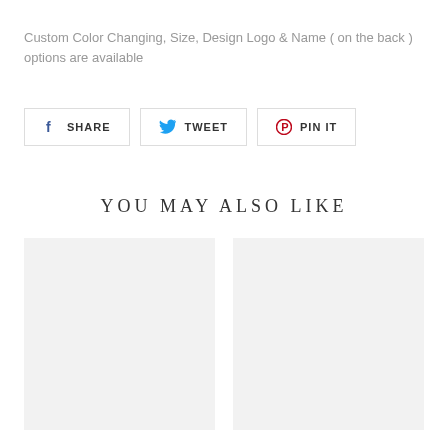Custom Color Changing, Size, Design Logo & Name ( on the back ) options are available
[Figure (other): Social sharing buttons: Facebook Share, Twitter Tweet, Pinterest Pin It]
YOU MAY ALSO LIKE
[Figure (photo): Product image placeholder (light gray box, left)]
[Figure (photo): Product image placeholder (light gray box, right)]